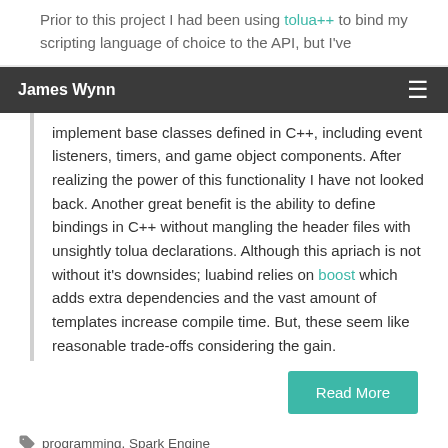Prior to this project I had been using tolua++ to bind my scripting language of choice to the API, but I've
James Wynn
implement base classes defined in C++, including event listeners, timers, and game object components. After realizing the power of this functionality I have not looked back. Another great benefit is the ability to define bindings in C++ without mangling the header files with unsightly tolua declarations. Although this apriach is not without it's downsides; luabind relies on boost which adds extra dependencies and the vast amount of templates increase compile time. But, these seem like reasonable trade-offs considering the gain.
Read More
programming, Spark Engine
Leave a comment